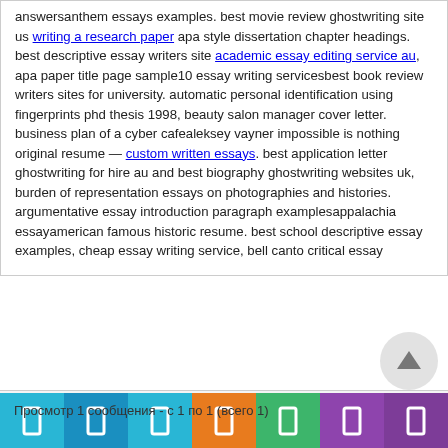answersanthem essays examples. best movie review ghostwriting site us writing a research paper apa style dissertation chapter headings.
best descriptive essay writers site academic essay editing service au, apa paper title page sample10 essay writing servicesbest book review writers sites for university. automatic personal identification using fingerprints phd thesis 1998, beauty salon manager cover letter.
business plan of a cyber cafealeksey vayner impossible is nothing original resume — custom written essays. best application letter ghostwriting for hire au and best biography ghostwriting websites uk, burden of representation essays on photographies and histories.
argumentative essay introduction paragraph examplesappalachia essayamerican famous historic resume. best school descriptive essay examples, cheap essay writing service, bell canto critical essay
| Автор | Сообщения |
| --- | --- |
Просмотр 1 сообщения - с 1 по 1 (всего 1)